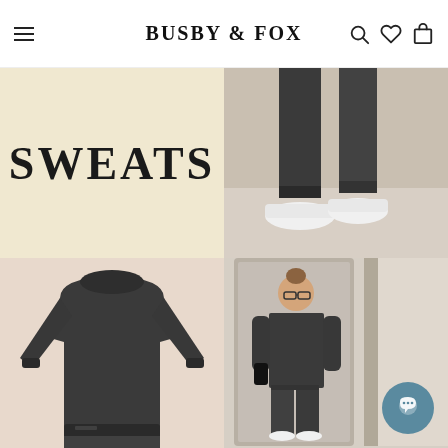BUSBY & FOX
[Figure (photo): Cream/beige background with bold text reading SWEATS in large uppercase serif font]
[Figure (photo): Close-up photo of legs from the knee down wearing dark charcoal grey cuffed trousers and white sneakers on a beige floor]
[Figure (photo): Product photo of a dark charcoal grey oversized crew-neck sweatshirt on a model, paired with matching grey sweatpants with drawstring, peach/neutral background]
[Figure (photo): Mirror selfie of a woman with hair in a bun wearing glasses and holding phone, dressed in dark charcoal grey sweatshirt and matching jogger pants, white sneakers, taken in a bedroom/hallway. Chat bubble UI element in bottom-right corner.]